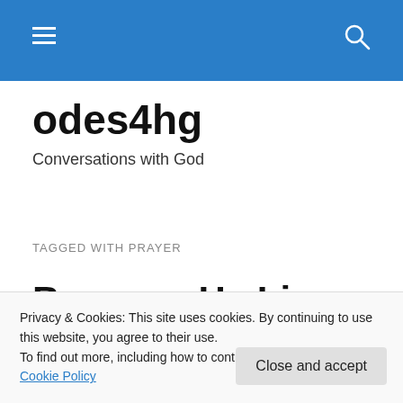odes4hg navigation bar with hamburger menu and search icon
odes4hg
Conversations with God
TAGGED WITH PRAYER
Because He Lives (Cover by Jason Manlapaz. Easter 2020)
Privacy & Cookies: This site uses cookies. By continuing to use this website, you agree to their use.
To find out more, including how to control cookies, see here: Cookie Policy
Close and accept